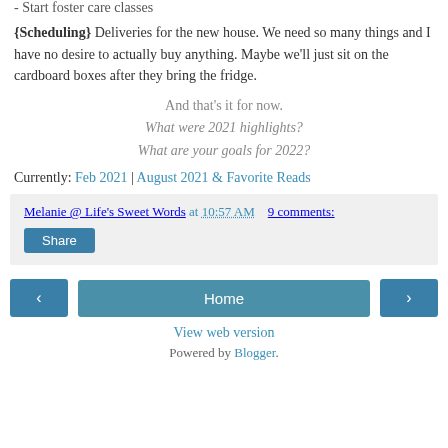- Start foster care classes
{Scheduling} Deliveries for the new house. We need so many things and I have no desire to actually buy anything. Maybe we'll just sit on the cardboard boxes after they bring the fridge.
And that's it for now.
What were 2021 highlights?
What are your goals for 2022?
Currently: Feb 2021 | August 2021 & Favorite Reads
Melanie @ Life's Sweet Words at 10:57 AM   9 comments:
Share
< | Home | >
View web version
Powered by Blogger.